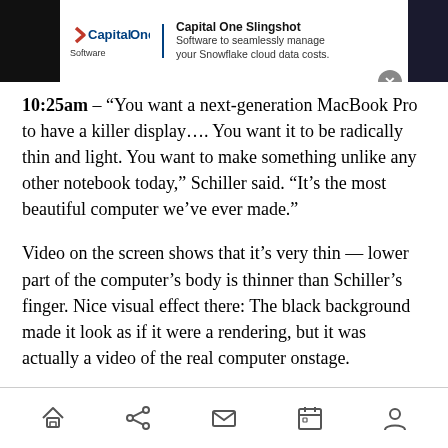[Figure (screenshot): Capital One Slingshot advertisement banner with logo and text: 'Software to seamlessly manage your Snowflake cloud data costs.' with a close (X) button]
10:25am – "You want a next-generation MacBook Pro to have a killer display.... You want it to be radically thin and light. You want to make something unlike any other notebook today," Schiller said. "It's the most beautiful computer we've ever made."
Video on the screen shows that it's very thin — lower part of the computer's body is thinner than Schiller's finger. Nice visual effect there: The black background made it look as if it were a rendering, but it was actually a video of the real computer onstage.
Navigation bar with home, share, mail, calendar, and profile icons